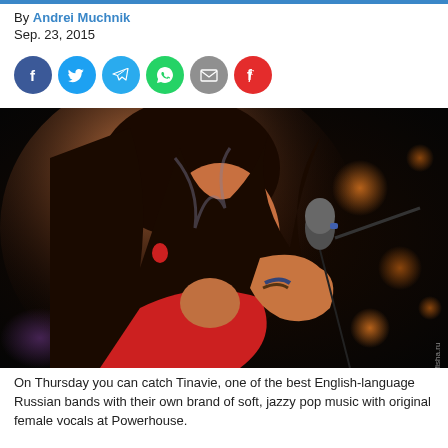By Andrei Muchnik
Sep. 23, 2015
[Figure (infographic): Social share icons: Facebook (blue), Twitter (blue), Telegram (blue), WhatsApp (green), Email (grey), Flipboard (red)]
[Figure (photo): A female singer performing on stage, holding a microphone close to her mouth, with colorful stage lighting. She has dark hair with highlights, wearing a red scarf, and appears to be singing passionately. The background is dark with bokeh light effects.]
On Thursday you can catch Tinavie, one of the best English-language Russian bands with their own brand of soft, jazzy pop music with original female vocals at Powerhouse.